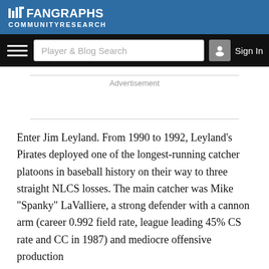FanGraphs Community Research
[Figure (screenshot): FanGraphs navigation bar with hamburger menu, Player & Blog Search input, and Sign In button]
Advertisement
Enter Jim Leyland. From 1990 to 1992, Leyland’s Pirates deployed one of the longest-running catcher platoons in baseball history on their way to three straight NLCS losses. The main catcher was Mike “Spanky” LaValliere, a strong defender with a cannon arm (career 0.992 field rate, league leading 45% CS rate and CC in 1987) and mediocre offensive production